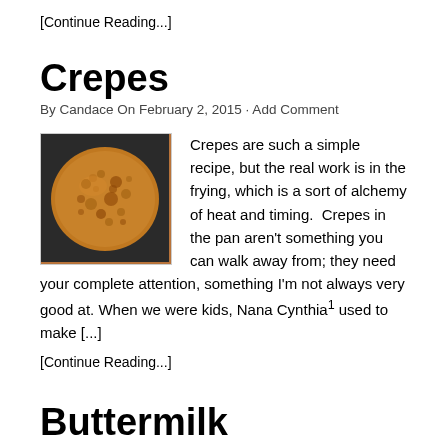[Continue Reading...]
Crepes
By Candace On February 2, 2015 · Add Comment
[Figure (photo): Photo of a crepe cooking in a pan, golden-brown with bubbles on the surface, seen from above.]
Crepes are such a simple recipe, but the real work is in the frying, which is a sort of alchemy of heat and timing.  Crepes in the pan aren't something you can walk away from; they need your complete attention, something I'm not always very good at. When we were kids, Nana Cynthia1 used to make [...]
[Continue Reading...]
Buttermilk Pancakes
By Candace On November 6, 2013 · Add Comment